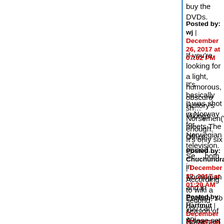buy the DVDs.
Posted by: wj | December 26, 2017 at 07:02 PM
If you're looking for a light, humorous, obscure sh… Norsemen(Vikingane) enough. It's only six episod…
It's basically History's Vikings meets The Office.
It was shot in Norway for Norwegian television. Se… both in Norwegian and in English, so you can enj… dubbing.
Posted by: Chuchundra | December 27, 2017 at 01:20 AM
According to wiki a second season of Norsemen h…
Posted by: Hartmut | December 27, 2017 at 03:53 AM
A case set for trial (diabolical judge set it to start d… late last week, so I took off the entire holiday peri… place in Cedar Key with the pups for 9 days.
Not exactly a traditional Christmas setting, but I'll…